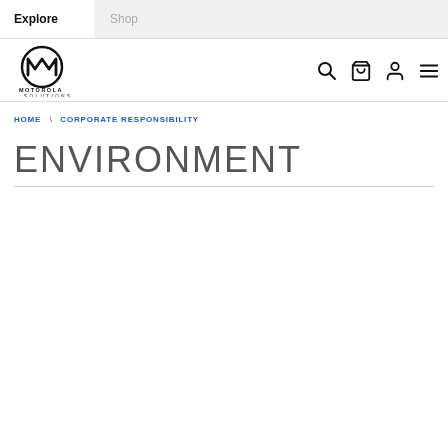Explore | Shop
[Figure (logo): Motorola Solutions logo with circular M emblem and text MOTOROLA SOLUTIONS]
HOME \ CORPORATE RESPONSIBILITY
ENVIRONMENT